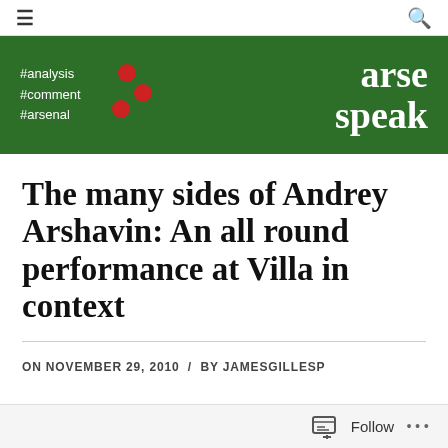≡  🔍
[Figure (logo): Green banner with hashtags #analysis #comment #arsenal on left with decorative red dots, and 'arse speak' brand name on right in white serif text]
The many sides of Andrey Arshavin: An all round performance at Villa in context
ON NOVEMBER 29, 2010 / BY JAMESGILLESP